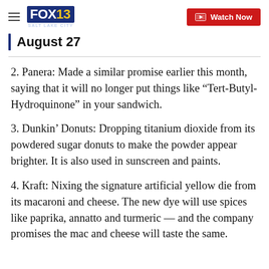FOX 13 SALT LAKE CITY | Watch Now
August 27
2. Panera: Made a similar promise earlier this month, saying that it will no longer put things like “Tert-Butyl-Hydroquinone” in your sandwich.
3. Dunkin’ Donuts: Dropping titanium dioxide from its powdered sugar donuts to make the powder appear brighter. It is also used in sunscreen and paints.
4. Kraft: Nixing the signature artificial yellow die from its macaroni and cheese. The new dye will use spices like paprika, annatto and turmeric — and the company promises the mac and cheese will taste the same.